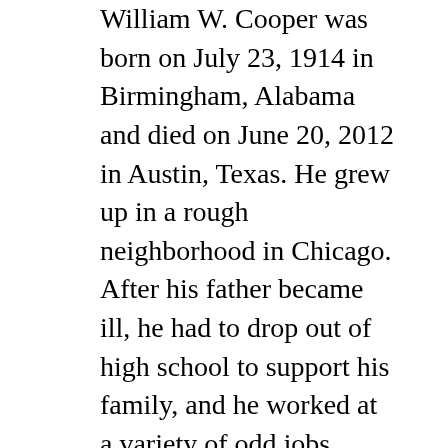William W. Cooper was born on July 23, 1914 in Birmingham, Alabama and died on June 20, 2012 in Austin, Texas. He grew up in a rough neighborhood in Chicago. After his father became ill, he had to drop out of high school to support his family, and he worked at a variety of odd jobs, including as a professional boxer. His record: 58 wins, 3 losses, and 2 draws.
Eric L. Kohler, an Arthur Andersen & Co. partner who taught accounting at Northwestern University, picked Bill up as a hitch-hiker one day on his way to another of his jobs, as a golf caddie. Kohler soon became his mentor and friend, and he loaned him the money to enter the University of Chicago. While at the university, he met his future wife, Ruth, and became friends with fellow student Herbert A. Simon. In 1938, he received an A.B. degree, majoring in economics, and he then accompanied Kohler to the Tennessee Valley Authority, where Kohler served as